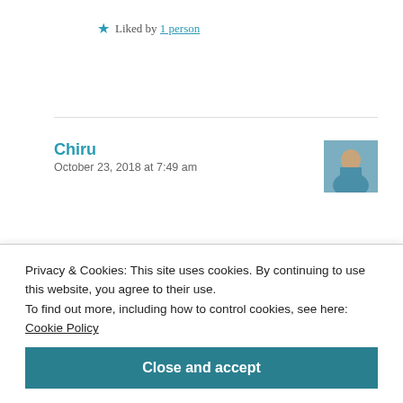★ Liked by 1 person
Reply
Chiru
October 23, 2018 at 7:49 am
[Figure (photo): Profile avatar photo of commenter Chiru]
congratulations Liba..
★ Liked by 1 person
Privacy & Cookies: This site uses cookies. By continuing to use this website, you agree to their use.
To find out more, including how to control cookies, see here: Cookie Policy
Close and accept